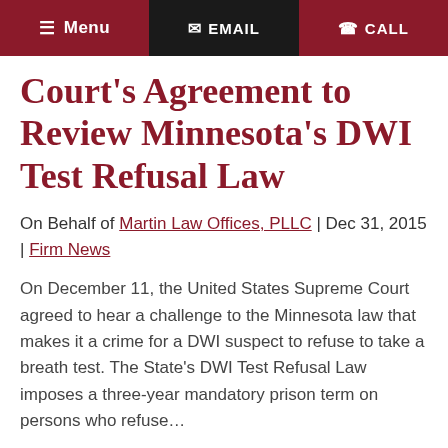Menu | EMAIL | CALL
Court's Agreement to Review Minnesota's DWI Test Refusal Law
On Behalf of Martin Law Offices, PLLC | Dec 31, 2015 | Firm News
On December 11, the United States Supreme Court agreed to hear a challenge to the Minnesota law that makes it a crime for a DWI suspect to refuse to take a breath test. The State's DWI Test Refusal Law imposes a three-year mandatory prison term on persons who refuse...
read more